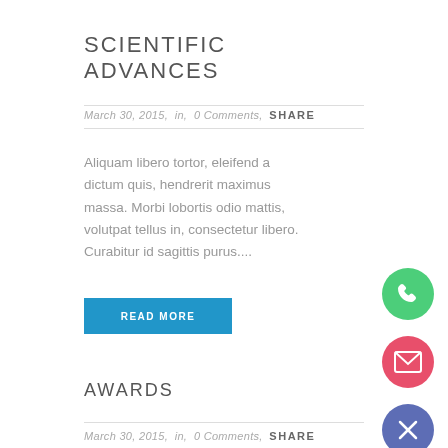SCIENTIFIC ADVANCES
March 30, 2015,  in,  0 Comments,  SHARE
Aliquam libero tortor, eleifend a dictum quis, hendrerit maximus massa. Morbi lobortis odio mattis, volutpat tellus in, consectetur libero. Curabitur id sagittis purus....
READ MORE
[Figure (illustration): Green circle FAB button with phone icon]
[Figure (illustration): Red/pink circle FAB button with email/envelope icon]
[Figure (illustration): Blue/purple circle FAB button with X/close icon]
AWARDS
March 30, 2015,  in,  0 Comments,  SHARE